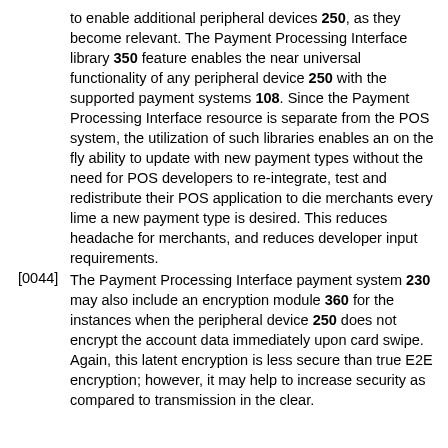to enable additional peripheral devices 250, as they become relevant. The Payment Processing Interface library 350 feature enables the near universal functionality of any peripheral device 250 with the supported payment systems 108. Since the Payment Processing Interface resource is separate from the POS system, the utilization of such libraries enables an on the fly ability to update with new payment types without the need for POS developers to re-integrate, test and redistribute their POS application to die merchants every lime a new payment type is desired. This reduces headache for merchants, and reduces developer input requirements.
[0044] The Payment Processing Interface payment system 230 may also include an encryption module 360 for the instances when the peripheral device 250 does not encrypt the account data immediately upon card swipe. Again, this latent encryption is less secure than true E2E encryption; however, it may help to increase security as compared to transmission in the clear.